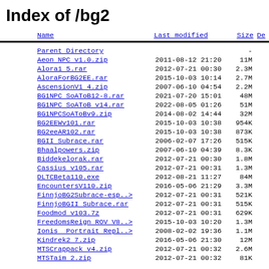Index of /bg2
| Name | Last modified | Size | De |
| --- | --- | --- | --- |
| Parent Directory |  | - |  |
| Aeon NPC v1.0.zip | 2011-08-12 21:20 | 11M |  |
| Alora1 5.rar | 2012-07-21 00:30 | 2.3M |  |
| AloraForBG2EE.rar | 2015-10-03 10:14 | 2.7M |  |
| AscensionV1 4.zip | 2007-06-10 04:54 | 2.2M |  |
| BG1NPC SoAToB12-8.rar | 2021-07-20 15:01 | 48M |  |
| BG1NPC SoAToB v14.rar | 2022-08-05 01:26 | 51M |  |
| BG1NPCSoAToBv9.zip | 2014-08-02 14:44 | 32M |  |
| BG2EEWv101.rar | 2015-10-03 10:38 | 954K |  |
| BG2eeAR102.rar | 2015-10-03 10:38 | 873K |  |
| BGII Subrace.rar | 2006-02-07 17:26 | 515K |  |
| Bhaalpowers.zip | 2007-06-10 04:39 | 8.3K |  |
| Biddekelorak.rar | 2012-07-21 00:30 | 1.8M |  |
| Cassius v105.rar | 2012-07-21 00:31 | 1.3M |  |
| DLTCBeta110.exe | 2012-08-21 11:27 | 84M |  |
| EncountersV110.zip | 2016-05-06 21:29 | 3.3M |  |
| FinnjoBG2Subrace-esp..> | 2012-07-21 00:31 | 521K |  |
| FinnjoBGII Subrace.rar | 2012-07-21 00:31 | 515K |  |
| Foodmod v103.7z | 2012-07-21 00:31 | 629K |  |
| FreedomsReign ROV V8..> | 2015-10-03 10:20 | 1.3M |  |
| Ionis  Portrait Repl..> | 2008-02-02 19:36 | 1.1M |  |
| Kindrek2 7.zip | 2016-05-06 21:30 | 12M |  |
| MTSCrappack v4.zip | 2012-07-21 00:32 | 2.6M |  |
| MTSTaim 2.zip | 2012-07-21 00:32 | 81K |  |